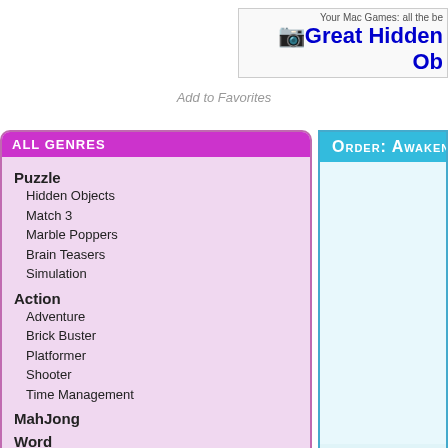Your Mac Games: all the be... | Great Hidden Ob...
Add to Favorites
All Genres
Puzzle
Hidden Objects
Match 3
Marble Poppers
Brain Teasers
Simulation
Action
Adventure
Brick Buster
Platformer
Shooter
Time Management
MahJong
Word
Card
Flash Games
All Games
Friends
Frozax Games - Download PC and
Order: Awakening: Moonfell Wood